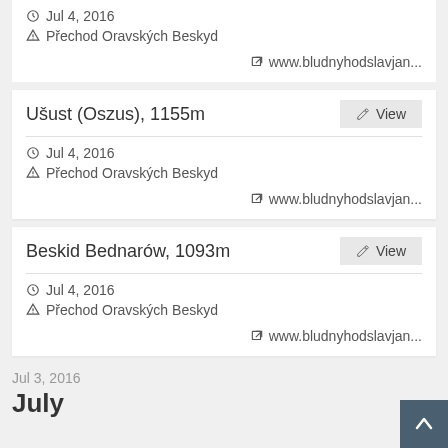Jul 4, 2016 | Přechod Oravských Beskyd | www.bludnyhodslavjan...
Ušust (Oszus), 1155m
Jul 4, 2016
Přechod Oravských Beskyd
www.bludnyhodslavjan...
Beskid Bednarów, 1093m
Jul 4, 2016
Přechod Oravských Beskyd
www.bludnyhodslavjan...
Jul 3, 2016
July